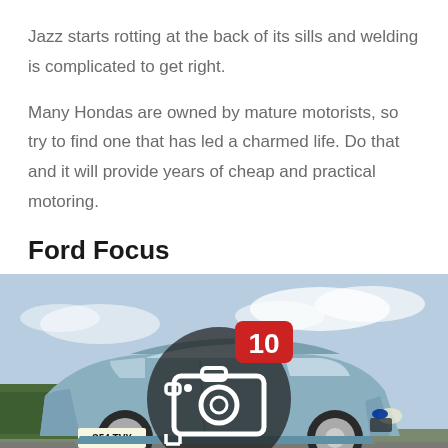Jazz starts rotting at the back of its sills and welding is complicated to get right.
Many Hondas are owned by mature motorists, so try to find one that has led a charmed life. Do that and it will provide years of cheap and practical motoring.
Ford Focus
[Figure (photo): A light blue Ford Focus hatchback photographed on a road with a green treeline and cloudy sky in the background. The number plate reads S54 TVX. A circular camera icon overlay with the number 10 in a red notification badge is superimposed on the centre of the image.]